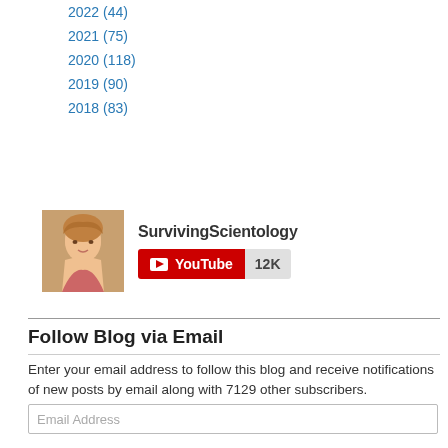2022 (44)
2021 (75)
2020 (118)
2019 (90)
2018 (83)
[Figure (other): YouTube channel widget showing SurvivingScientology channel with avatar photo, channel name, YouTube subscribe button, and 12K subscriber count]
Follow Blog via Email
Enter your email address to follow this blog and receive notifications of new posts by email along with 7129 other subscribers.
[Figure (other): Email Address input field]
[Figure (other): FOLLOW button (blue rounded button)]
[Figure (other): Donate with PayPal button]
Community